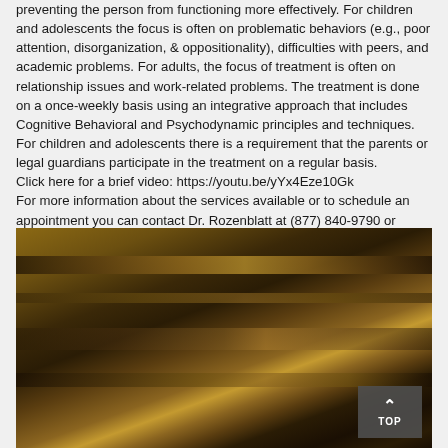preventing the person from functioning more effectively. For children and adolescents the focus is often on problematic behaviors (e.g., poor attention, disorganization, & oppositionality), difficulties with peers, and academic problems. For adults, the focus of treatment is often on relationship issues and work-related problems. The treatment is done on a once-weekly basis using an integrative approach that includes Cognitive Behavioral and Psychodynamic principles and techniques. For children and adolescents there is a requirement that the parents or legal guardians participate in the treatment on a regular basis.
Click here for a brief video: https://youtu.be/yYx4Eze10Gk
For more information about the services available or to schedule an appointment you can contact Dr. Rozenblatt at (877) 840-9790 or neurodoc@advancedpsy.com.
[Figure (photo): Close-up photograph of a dark wooden surface with visible wood grain texture, showing warm brown and dark tones.]